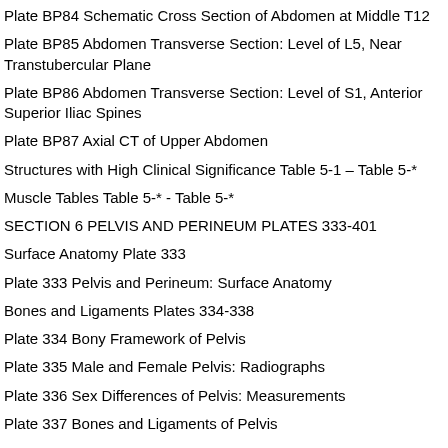Plate BP84 Schematic Cross Section of Abdomen at Middle T12
Plate BP85 Abdomen Transverse Section: Level of L5, Near Transtubercular Plane
Plate BP86 Abdomen Transverse Section: Level of S1, Anterior Superior Iliac Spines
Plate BP87 Axial CT of Upper Abdomen
Structures with High Clinical Significance Table 5-1 – Table 5-*
Muscle Tables Table 5-* - Table 5-*
SECTION 6 PELVIS AND PERINEUM PLATES 333-401
Surface Anatomy Plate 333
Plate 333 Pelvis and Perineum: Surface Anatomy
Bones and Ligaments Plates 334-338
Plate 334 Bony Framework of Pelvis
Plate 335 Male and Female Pelvis: Radiographs
Plate 336 Sex Differences of Pelvis: Measurements
Plate 337 Bones and Ligaments of Pelvis